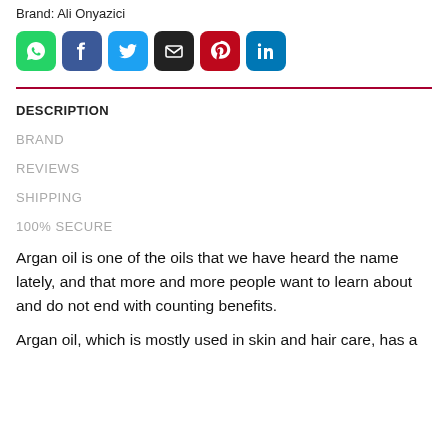Brand: Ali Onyazici
[Figure (infographic): Row of six social media sharing icon buttons: WhatsApp (green), Facebook (dark blue), Twitter (light blue), Email (black), Pinterest (red), LinkedIn (blue)]
DESCRIPTION
BRAND
REVIEWS
SHIPPING
100% SECURE
Argan oil is one of the oils that we have heard the name lately, and that more and more people want to learn about and do not end with counting benefits.
Argan oil, which is mostly used in skin and hair care, has a